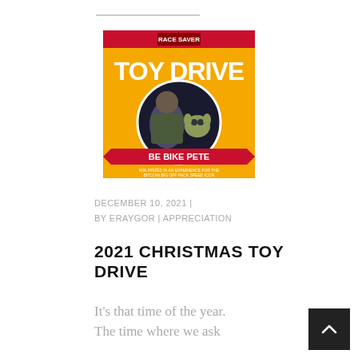[Figure (photo): Toy Drive promotional poster with orange/yellow background showing 'TOY DRIVE' text and a person with Baby Yoda figurine, with 'BE BIKE PETE' text on a red banner]
DECEMBER 10, 2021 |
BY ERAYGOR | APPRECIATION
2021 CHRISTMAS TOY DRIVE
It's that time of the year. The time where we ask